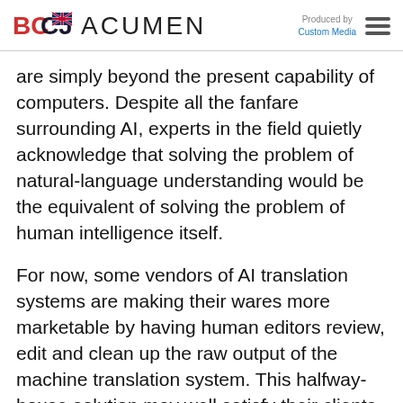BCCJ ACUMEN — Produced by Custom Media
are simply beyond the present capability of computers. Despite all the fanfare surrounding AI, experts in the field quietly acknowledge that solving the problem of natural-language understanding would be the equivalent of solving the problem of human intelligence itself.
For now, some vendors of AI translation systems are making their wares more marketable by having human editors review, edit and clean up the raw output of the machine translation system. This halfway-house solution may well satisfy their clients, who will probably be none-the-wiser as to why their AI-generated transla-